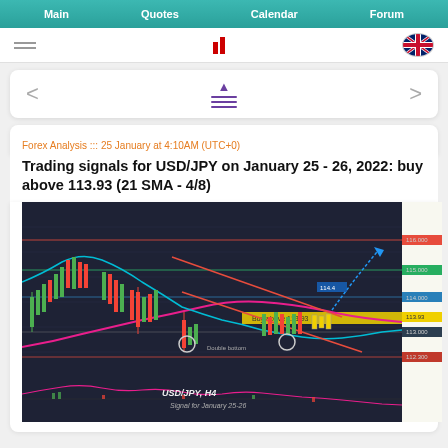Main   Quotes   Calendar   Forum
[Figure (screenshot): Website navigation icons: hamburger menu, logo with red bars, UK flag]
[Figure (screenshot): Navigation card with left arrow, menu/sort icon, right arrow]
Forex Analysis ::: 25 January at 4:10AM (UTC+0)
Trading signals for USD/JPY on January 25 - 26, 2022: buy above 113.93 (21 SMA - 4/8)
[Figure (continuous-plot): USD/JPY H4 candlestick chart showing price action with moving averages (cyan and magenta), support/resistance levels, downward channel in red, buy signal above 113.93 highlighted in yellow, double bottom pattern circled, blue arrow projecting upward target around 114.4. Chart labeled 'USD/JPY, H4 Signal for January 25-26'. MACD oscillator shown below.]